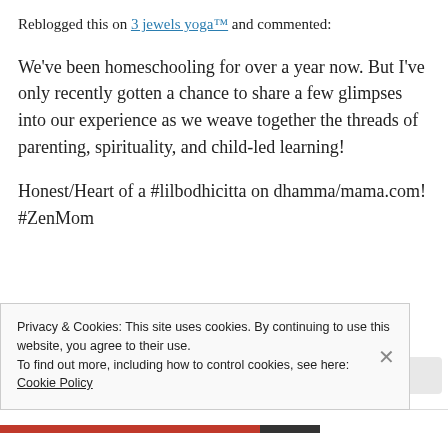Reblogged this on 3 jewels yoga™ and commented:
We've been homeschooling for over a year now. But I've only recently gotten a chance to share a few glimpses into our experience as we weave together the threads of parenting, spirituality, and child-led learning!
Honest/Heart of a #lilbodhicitta on dhamma/mama.com! #ZenMom
Privacy & Cookies: This site uses cookies. By continuing to use this website, you agree to their use.
To find out more, including how to control cookies, see here:
Cookie Policy
Close and accept